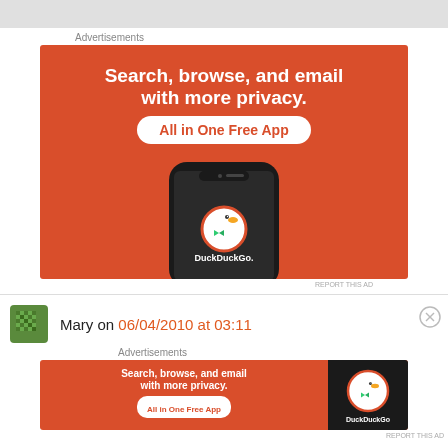[Figure (screenshot): Top gray navigation bar of a webpage]
Advertisements
[Figure (photo): DuckDuckGo advertisement banner: 'Search, browse, and email with more privacy. All in One Free App' on orange background with phone showing DuckDuckGo app]
REPORT THIS AD
Mary on 06/04/2010 at 03:11
Advertisements
[Figure (photo): DuckDuckGo advertisement banner small: 'Search, browse, and email with more privacy. All in One Free App' with DuckDuckGo logo]